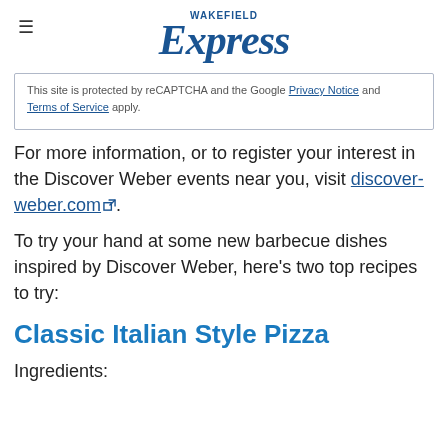Wakefield Express
This site is protected by reCAPTCHA and the Google Privacy Notice and Terms of Service apply.
For more information, or to register your interest in the Discover Weber events near you, visit discover-weber.com.
To try your hand at some new barbecue dishes inspired by Discover Weber, here's two top recipes to try:
Classic Italian Style Pizza
Ingredients: